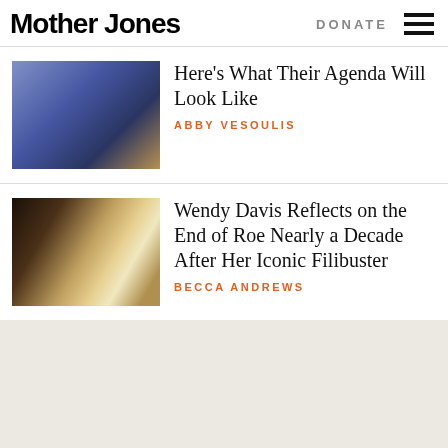Mother Jones
Here's What Their Agenda Will Look Like
ABBY VESOULIS
Wendy Davis Reflects on the End of Roe Nearly a Decade After Her Iconic Filibuster
BECCA ANDREWS